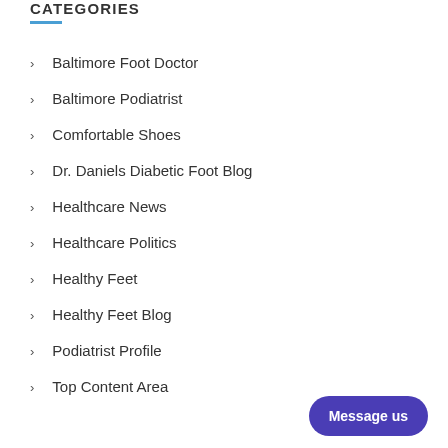CATEGORIES
Baltimore Foot Doctor
Baltimore Podiatrist
Comfortable Shoes
Dr. Daniels Diabetic Foot Blog
Healthcare News
Healthcare Politics
Healthy Feet
Healthy Feet Blog
Podiatrist Profile
Top Content Area
Message us